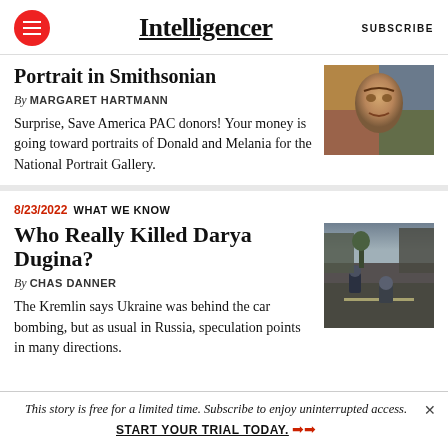Intelligencer  SUBSCRIBE
Portrait in Smithsonian
By MARGARET HARTMANN
Surprise, Save America PAC donors! Your money is going toward portraits of Donald and Melania for the National Portrait Gallery.
[Figure (photo): Portrait painting of a person, colorful mosaic-style artwork]
8/23/2022  WHAT WE KNOW
Who Really Killed Darya Dugina?
By CHAS DANNER
The Kremlin says Ukraine was behind the car bombing, but as usual in Russia, speculation points in many directions.
[Figure (photo): Street scene with people crouching near road at night]
This story is free for a limited time. Subscribe to enjoy uninterrupted access.  START YOUR TRIAL TODAY. ➤➤